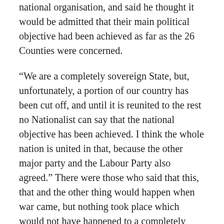national organisation, and said he thought it would be admitted that their main political objective had been achieved as far as the 26 Counties were concerned.
“We are a completely sovereign State, but, unfortunately, a portion of our country has been cut off, and until it is reunited to the rest no Nationalist can say that the national objective has been achieved. I think the whole nation is united in that, because the other major party and the Labour Party also agreed.” There were those who said that this, that and the other thing would happen when war came, but nothing took place which would not have happened to a completely sovereign State.
In making an appeal for good citizenship in the matter of reporting profiteering to the authorities, Mr. de Valera said he knew that people did not like to report their neighbours,